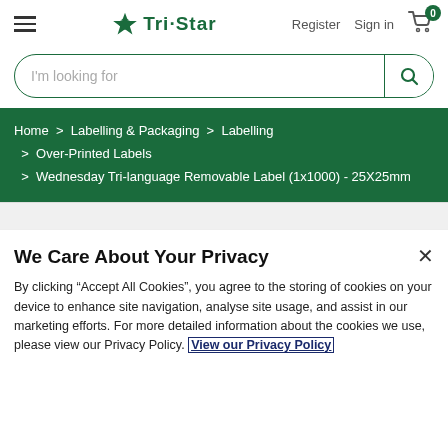Tri-Star — Register | Sign in | Cart (0)
I'm looking for
Home > Labelling & Packaging > Labelling > Over-Printed Labels > Wednesday Tri-language Removable Label (1x1000) - 25X25mm
We Care About Your Privacy
By clicking "Accept All Cookies", you agree to the storing of cookies on your device to enhance site navigation, analyse site usage, and assist in our marketing efforts. For more detailed information about the cookies we use, please view our Privacy Policy. View our Privacy Policy